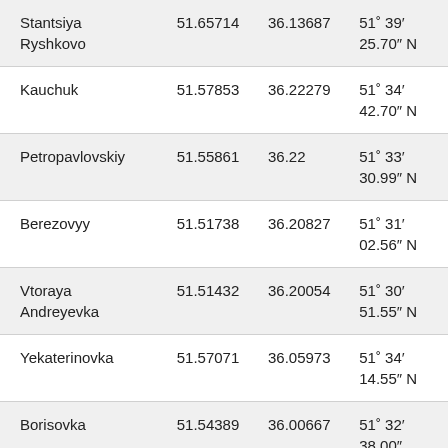| Name | Lat | Lon | DMS |
| --- | --- | --- | --- |
| Stantsiya Ryshkovo | 51.65714 | 36.13687 | 51° 39′ 25.70″ N |
| Kauchuk | 51.57853 | 36.22279 | 51° 34′ 42.70″ N |
| Petropavlovskiy | 51.55861 | 36.22 | 51° 33′ 30.99″ N |
| Berezovyy | 51.51738 | 36.20827 | 51° 31′ 02.56″ N |
| Vtoraya Andreyevka | 51.51432 | 36.20054 | 51° 30′ 51.55″ N |
| Yekaterinovka | 51.57071 | 36.05973 | 51° 34′ 14.55″ N |
| Borisovka | 51.54389 | 36.00667 | 51° 32′ 38.00″ N |